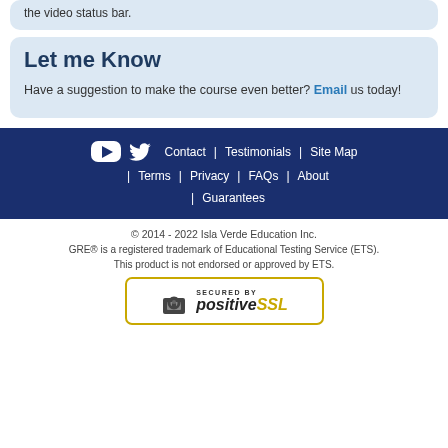the video status bar.
Let me Know
Have a suggestion to make the course even better? Email us today!
Contact | Testimonials | Site Map | Terms | Privacy | FAQs | About | Guarantees
© 2014 - 2022 Isla Verde Education Inc.
GRE® is a registered trademark of Educational Testing Service (ETS). This product is not endorsed or approved by ETS.
[Figure (logo): Secured by PositiveSSL badge with padlock icon]